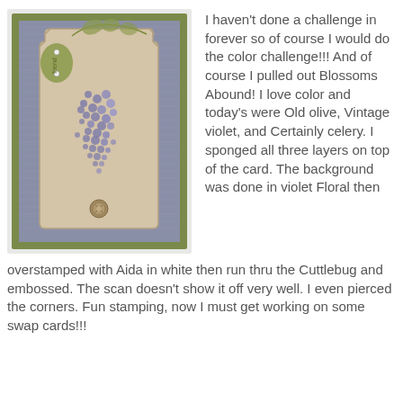[Figure (photo): A handmade stamped card featuring grape/floral design with purple wisteria-like flowers and green vine leaves on a cream tag, mounted on olive green card stock with a blue-grey linen texture background. A small decorative metal brad is visible at the bottom center of the tag, and a small label tab reads 'friend' at the top left.]
I haven't done a challenge in forever so of course I would do the color challenge!!! And of course I pulled out Blossoms Abound! I love color and today's were Old olive, Vintage violet, and Certainly celery. I sponged all three layers on top of the card. The background was done in violet Floral then overstamped with Aida in white then run thru the Cuttlebug and embossed. The scan doesn't show it off very well. I even pierced the corners. Fun stamping, now I must get working on some swap cards!!!